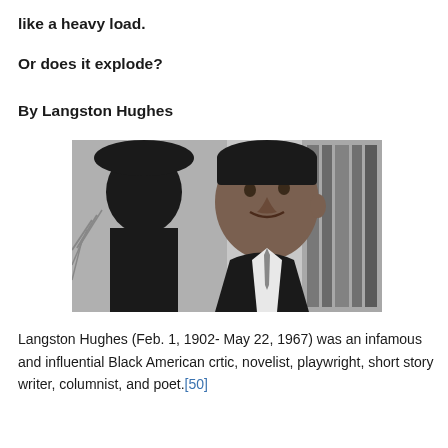like a heavy load.
Or does it explode?
By Langston Hughes
[Figure (photo): Black and white photograph of Langston Hughes standing in front of a decorative artwork/mural featuring a silhouette profile. Hughes is wearing a suit and tie, looking upward and to the side.]
Langston Hughes (Feb. 1, 1902- May 22, 1967) was an infamous and influential Black American crtic, novelist, playwright, short story writer, columnist, and poet.[50]